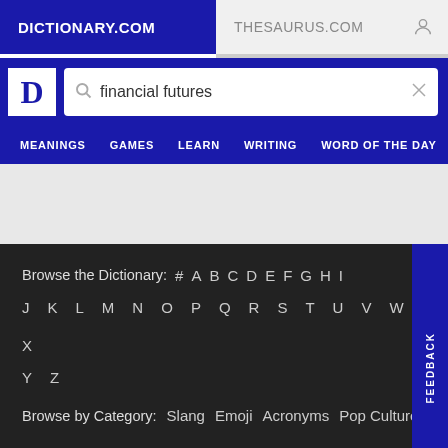DICTIONARY.COM | THESAURUS.COM
[Figure (screenshot): Dictionary.com logo with white D on blue background]
financial futures
MEANINGS  GAMES  LEARN  WRITING  WORD OF THE DAY
Browse the Dictionary: # A B C D E F G H I J K L M N O P Q R S T U V W X Y Z
Browse by Category: Slang  Emoji  Acronyms  Pop Culture
About  Careers  Contact Us  Cookies, Terms, & Privacy  Do Not Sell My Info